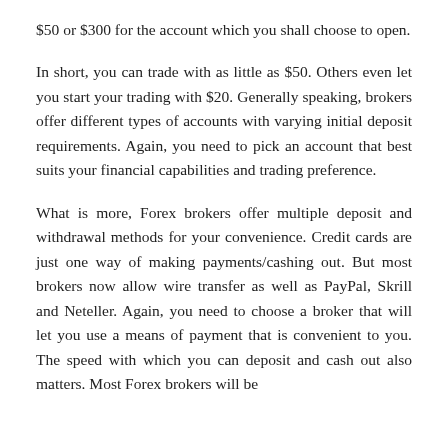$50 or $300 for the account which you shall choose to open.
In short, you can trade with as little as $50. Others even let you start your trading with $20. Generally speaking, brokers offer different types of accounts with varying initial deposit requirements. Again, you need to pick an account that best suits your financial capabilities and trading preference.
What is more, Forex brokers offer multiple deposit and withdrawal methods for your convenience. Credit cards are just one way of making payments/cashing out. But most brokers now allow wire transfer as well as PayPal, Skrill and Neteller. Again, you need to choose a broker that will let you use a means of payment that is convenient to you. The speed with which you can deposit and cash out also matters. Most Forex brokers will be